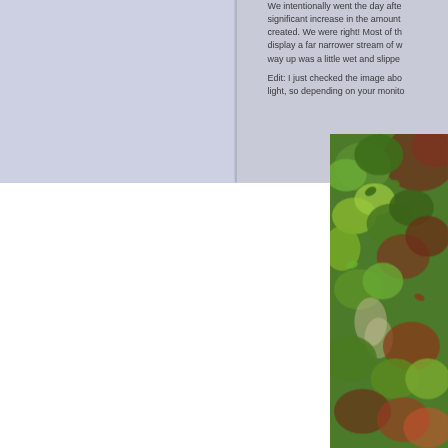We intentionally went the day after significant increase in the amount created. We were right! Most of the display a far narrower stream of w way up was a little wet and slippe
Edit: I just checked the image abo light, so depending on your monito
[Figure (photo): A nature photograph showing dense green foliage, leaves, and plant life with some brown/reddish tones mixed in, possibly a forest or garden scene.]